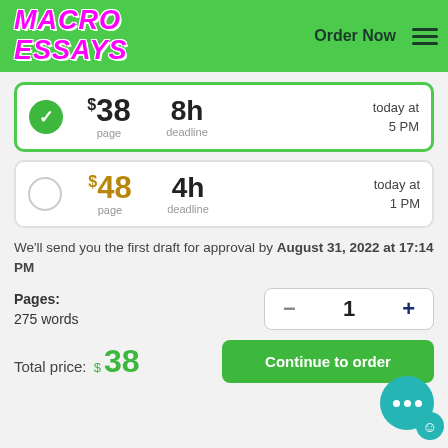MACRO ESSAYS | Order Now
$38 page | 8h deadline | today at 5 PM (selected)
$48 page | 4h deadline | today at 1 PM
We'll send you the first draft for approval by August 31, 2022 at 17:14 PM
Pages: 275 words — 1
Total price: $38   Continue to order